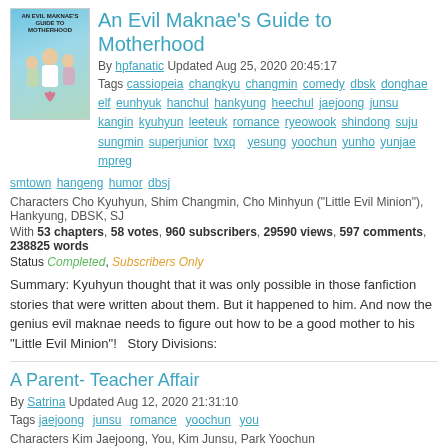[Figure (illustration): Book cover for An Evil Maknae's Guide to Motherhood with teal/blue background and figures]
An Evil Maknae's Guide to Motherhood
By hpfanatic Updated Aug 25, 2020 20:45:17
Tags cassiopeia changkyu changmin comedy dbsk donghae elf eunhyuk hanchul hankyung heechul jaejoong junsu kangin kyuhyun leeteuk romance ryeowook shindong suju sungmin superjunior tvxq yesung yoochun yunho yunjae mpreg smtown hangeng humor dbsj
Characters Cho Kyuhyun, Shim Changmin, Cho Minhyun ("Little Evil Minion"), Hankyung, DBSK, SJ
With 53 chapters, 58 votes, 960 subscribers, 29590 views, 597 comments, 238825 words
Status Completed, Subscribers Only
Summary: Kyuhyun thought that it was only possible in those fanfiction stories that were written about them. But it happened to him. And now the genius evil maknae needs to figure out how to be a good mother to his "Little Evil Minion"!   Story Divisions:
A Parent- Teacher Affair
By Satrina Updated Aug 12, 2020 21:31:10
Tags jaejoong junsu romance yoochun you
Characters Kim Jaejoong, You, Kim Junsu, Park Yoochun
With 56 chapters, 56 votes, 515 subscribers, 26000 views, 586 comments, 108010 words